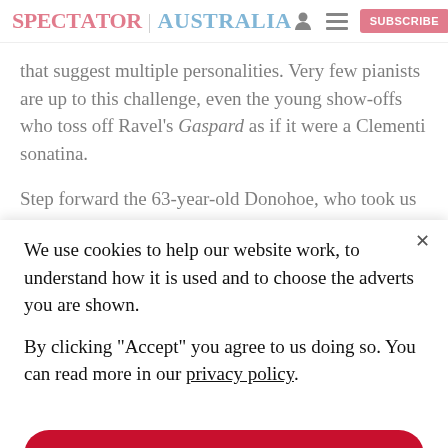SPECTATOR | AUSTRALIA  [user icon] [menu icon] SUBSCRIBE
that suggest multiple personalities. Very few pianists are up to this challenge, even the young show-offs who toss off Ravel's Gaspard as if it were a Clementi sonatina.
Step forward the 63-year-old Donohoe, who took us
We use cookies to help our website work, to understand how it is used and to choose the adverts you are shown.
By clicking "Accept" you agree to us doing so. You can read more in our privacy policy.
Accept